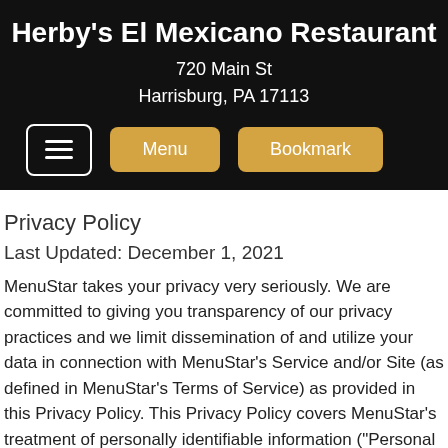Herby's El Mexicano Restaurant
720 Main St
Harrisburg, PA 17113
Privacy Policy
Last Updated: December 1, 2021
MenuStar takes your privacy very seriously. We are committed to giving you transparency of our privacy practices and we limit dissemination of and utilize your data in connection with MenuStar's Service and/or Site (as defined in MenuStar's Terms of Service) as provided in this Privacy Policy. This Privacy Policy covers MenuStar's treatment of personally identifiable information ("Personal Information") and other data that MenuStar gathers when you are accessing MenuStar's Service. The Service is not available to individuals who are younger than 13 years old